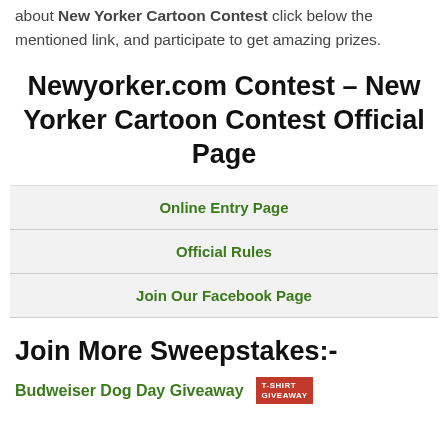about New Yorker Cartoon Contest click below the mentioned link, and participate to get amazing prizes.
Newyorker.com Contest – New Yorker Cartoon Contest Official Page
Online Entry Page
Official Rules
Join Our Facebook Page
Join More Sweepstakes:-
Budweiser Dog Day Giveaway